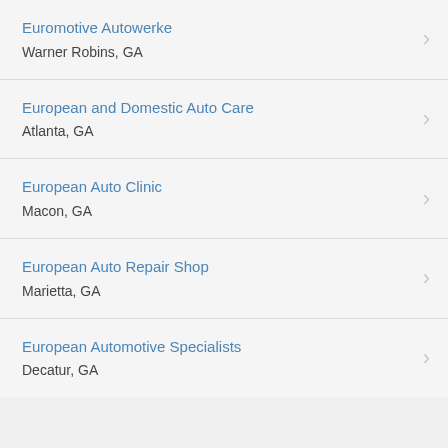Euromotive Autowerke
Warner Robins, GA
European and Domestic Auto Care
Atlanta, GA
European Auto Clinic
Macon, GA
European Auto Repair Shop
Marietta, GA
European Automotive Specialists
Decatur, GA